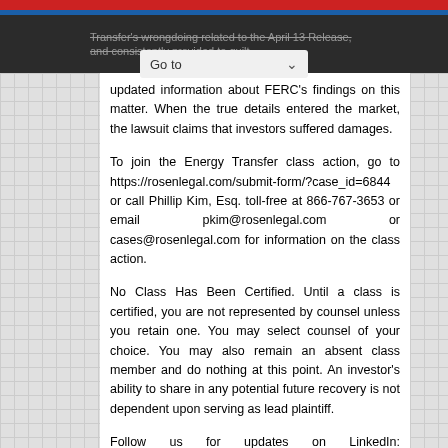updated information about FERC's findings on this matter. When the true details entered the market, the lawsuit claims that investors suffered damages.
To join the Energy Transfer class action, go to https://rosenlegal.com/submit-form/?case_id=6844 or call Phillip Kim, Esq. toll-free at 866-767-3653 or email pkim@rosenlegal.com or cases@rosenlegal.com for information on the class action.
No Class Has Been Certified. Until a class is certified, you are not represented by counsel unless you retain one. You may select counsel of your choice. You may also remain an absent class member and do nothing at this point. An investor's ability to share in any potential future recovery is not dependent upon serving as lead plaintiff.
Follow us for updates on LinkedIn: http://linkedin.com/...